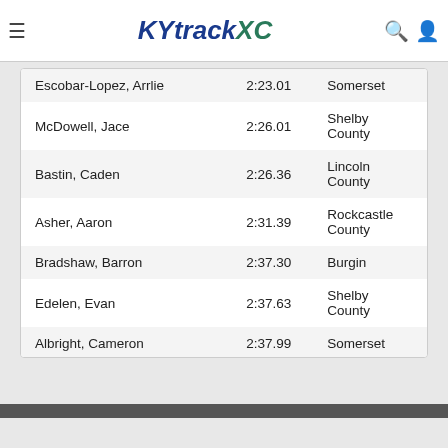KYtrackXC
| Escobar-Lopez, Arrlie | 2:23.01 | Somerset |
| McDowell, Jace | 2:26.01 | Shelby County |
| Bastin, Caden | 2:26.36 | Lincoln County |
| Asher, Aaron | 2:31.39 | Rockcastle County |
| Bradshaw, Barron | 2:37.30 | Burgin |
| Edelen, Evan | 2:37.63 | Shelby County |
| Albright, Cameron | 2:37.99 | Somerset |
| Martin, Woods | 2:38.43 | Garrard County |
| Burkhead, James | 2:40.07 | Garrard County |
| Parman, Noah | 2:42.22 | Madison Southern |
↑ Back to Top